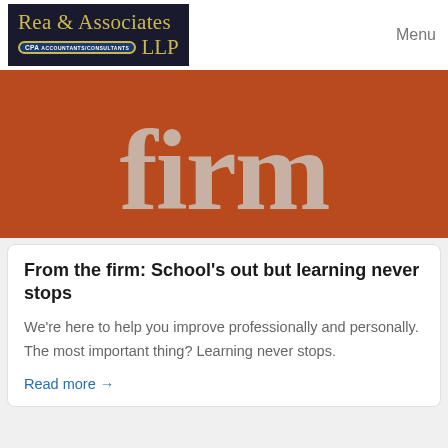[Figure (logo): Rea & Associates CPA Accountants/Consultants LLP logo on dark background]
Menu
[Figure (illustration): Orange/rust colored banner with large gray text reading 'firm']
From the firm: School's out but learning never stops
We're here to help you improve professionally and personally. The most important thing? Learning never stops.
Read more →